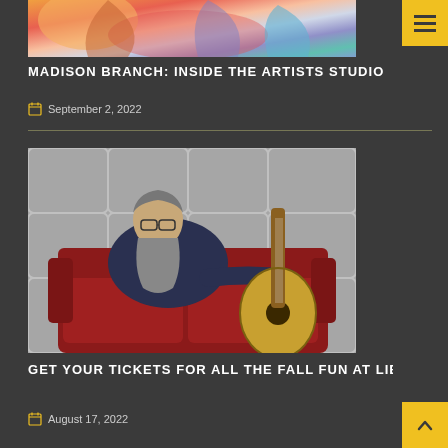[Figure (photo): Partial colorful abstract painting cropped at top of page]
MADISON BRANCH: INSIDE THE ARTISTS STUDIO
September 2, 2022
[Figure (photo): Man with long gray beard and glasses sitting on a red leather couch with an acoustic guitar leaning against him, silver padded wall background]
GET YOUR TICKETS FOR ALL THE FALL FUN AT LIBERTY H
August 17, 2022